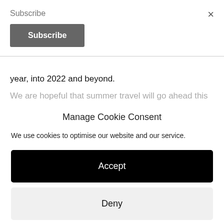Subscribe
Subscribe
×
year, into 2022 and beyond.
We are hopeful that summer travel will go ahead this
Manage Cookie Consent
We use cookies to optimise our website and our service.
Accept
Deny
Preferences